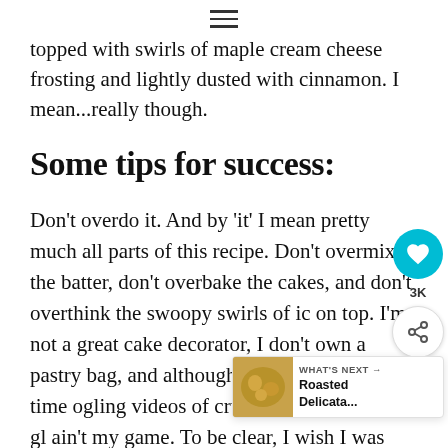≡
topped with swirls of maple cream cheese frosting and lightly dusted with cinnamon. I mean...really though.
Some tips for success:
Don't overdo it. And by 'it' I mean pretty much all parts of this recipe. Don't overmix the batter, don't overbake the cakes, and don't overthink the swoopy swirls of ic on top. I'm not a great cake decorator, I don't own a pastry bag, and although I do spend plenty of time ogling videos of crumb coats and mirror gl ain't my game. To be clear, I wish I was better at this stuff, but it's also OK that I'm not.